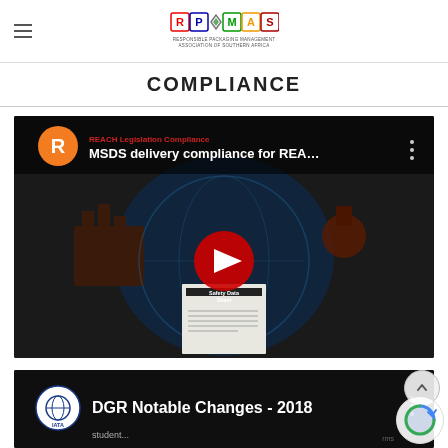RPMASA - Responsible Packaging Management Association of Southern Africa
COMPLIANCE
[Figure (screenshot): YouTube video thumbnail showing MSDS delivery compliance for REA... video with orange R avatar, play button, and Safety Data Sheet imagery with dark overlay. Text: REACH Legislation Compliance, MSDS delivery compliance for REA...]
[Figure (screenshot): YouTube video thumbnail showing DGR Notable Changes - 2018 video with IATA logo avatar and dark overlay background]